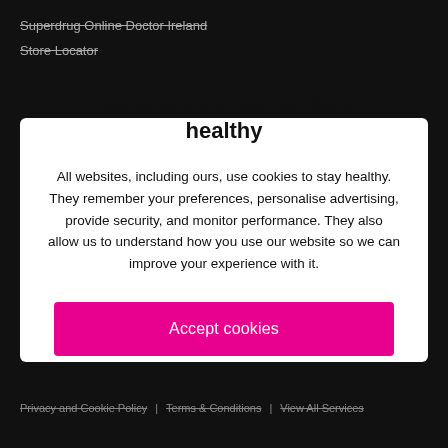Superdrug Online Doctor Ireland
Store Locator
Cookies keep our website healthy
All websites, including ours, use cookies to stay healthy. They remember your preferences, personalise advertising, provide security, and monitor performance. They also allow us to understand how you use our website so we can improve your experience with it.
Accept cookies
Manage cookies
Privacy and Cookie Policy | Terms & Conditions | View All Services